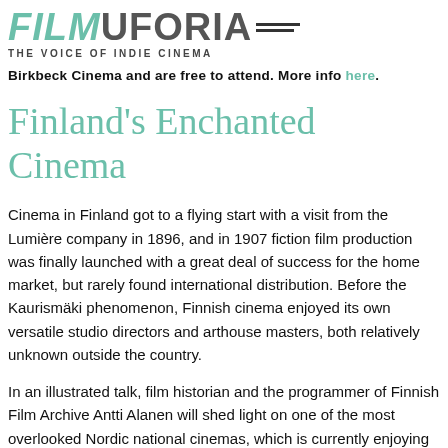FILMUFORIA__ THE VOICE OF INDIE CINEMA
Birkbeck Cinema and are free to attend. More info here.
Finland's Enchanted Cinema
Cinema in Finland got to a flying start with a visit from the Lumière company in 1896, and in 1907 fiction film production was finally launched with a great deal of success for the home market, but rarely found international distribution. Before the Kaurismäki phenomenon, Finnish cinema enjoyed its own versatile studio directors and arthouse masters, both relatively unknown outside the country.
In an illustrated talk, film historian and the programmer of Finnish Film Archive Antti Alanen will shed light on one of the most overlooked Nordic national cinemas, which is currently enjoying a boom in audience success, production volume, and versatility.